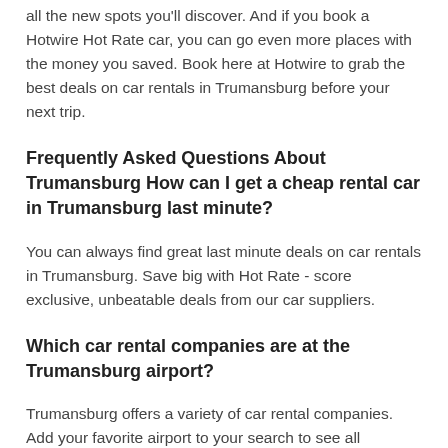all the new spots you'll discover. And if you book a Hotwire Hot Rate car, you can go even more places with the money you saved. Book here at Hotwire to grab the best deals on car rentals in Trumansburg before your next trip.
Frequently Asked Questions About Trumansburg How can I get a cheap rental car in Trumansburg last minute?
You can always find great last minute deals on car rentals in Trumansburg. Save big with Hot Rate - score exclusive, unbeatable deals from our car suppliers.
Which car rental companies are at the Trumansburg airport?
Trumansburg offers a variety of car rental companies. Add your favorite airport to your search to see all available car companies.
Why should I book a last minute car rental with Hotwire?
When you need a last minute car rental deal, Hotwire's daily Hot Rate deals allows you to easily compare exclusive discounts from a wide range of the most popular car rental companies